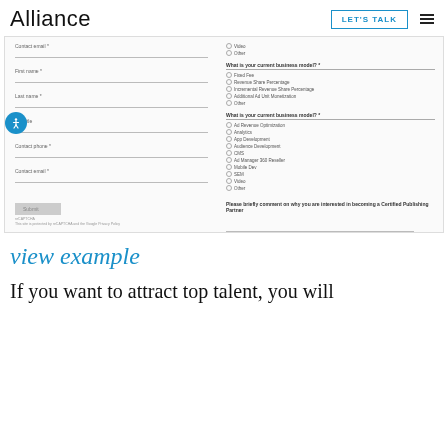Alliance | LET'S TALK
[Figure (screenshot): A web form screenshot showing fields: Contact email, First name, Last name, Job title, Contact phone, Contact email on the left; and radio button groups for business model questions on the right, with a submit button at the bottom.]
view example
If you want to attract top talent, you will